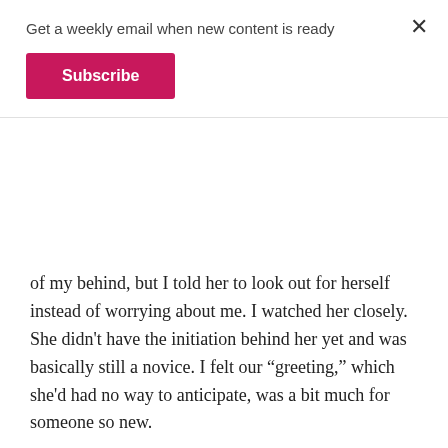Get a weekly email when new content is ready
Subscribe
of my behind, but I told her to look out for herself instead of worrying about me. I watched her closely. She didn't have the initiation behind her yet and was basically still a novice. I felt our "greeting," which she'd had no way to anticipate, was a bit much for someone so new.
Well, that was for The Consigliere and others to decide. Perhaps it was a test and if Cora had failed there would have been no need to go forward with the rest of her initiation. There is a certain freedom that comes from having no say in how things turn